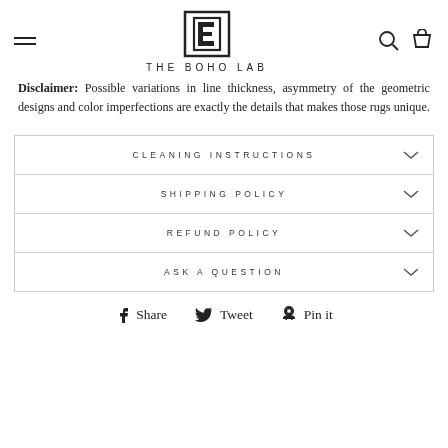THE BOHO LAB
Disclaimer: Possible variations in line thickness, asymmetry of the geometric designs and color imperfections are exactly the details that makes those rugs unique.
| CLEANING INSTRUCTIONS |
| SHIPPING POLICY |
| REFUND POLICY |
| ASK A QUESTION |
Share  Tweet  Pin it